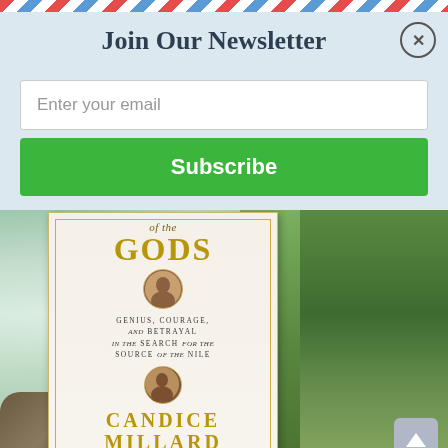Join Our Newsletter
Enter your email
Subscribe
[Figure (photo): Book cover of 'of the GODS' by Candice Millard, subtitle: Genius, Courage, and Betrayal in the Search for the Source of the Nile. New York Times Bestselling Author. Background shows waterfall and mossy green vegetation.]